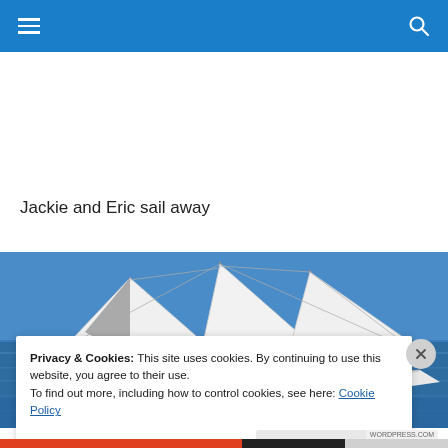Navigation bar with hamburger menu and search icon
Jackie and Eric sail away
[Figure (photo): A sailboat with white sails on blue ocean water, multiple people visible on deck, vessel name partially visible as 'Compass Rose']
Privacy & Cookies: This site uses cookies. By continuing to use this website, you agree to their use.
To find out more, including how to control cookies, see here: Cookie Policy
Close and accept